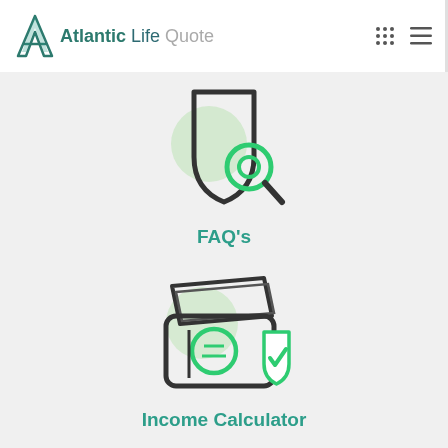[Figure (logo): Atlantic Life Quote logo with stylized teal A icon and text 'Atlantic Life Quote']
[Figure (illustration): Shield with magnifying glass icon representing insurance search or FAQ, with light green circle accent]
FAQ's
[Figure (illustration): Money/wallet with a shield and checkmark icon representing income protection calculator, with light green circle accent]
Income Calculator